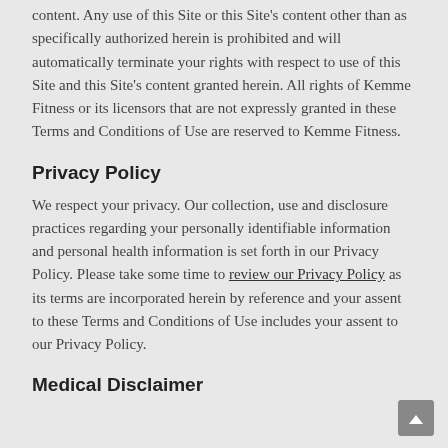content. Any use of this Site or this Site's content other than as specifically authorized herein is prohibited and will automatically terminate your rights with respect to use of this Site and this Site's content granted herein. All rights of Kemme Fitness or its licensors that are not expressly granted in these Terms and Conditions of Use are reserved to Kemme Fitness.
Privacy Policy
We respect your privacy. Our collection, use and disclosure practices regarding your personally identifiable information and personal health information is set forth in our Privacy Policy. Please take some time to review our Privacy Policy as its terms are incorporated herein by reference and your assent to these Terms and Conditions of Use includes your assent to our Privacy Policy.
Medical Disclaimer